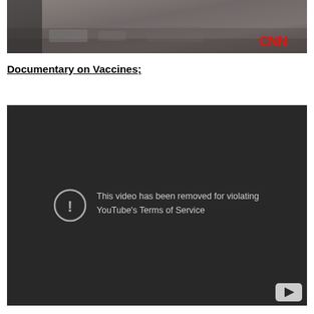[Figure (screenshot): CNN news desk screenshot with gray/brown tones and CNN logo in red at bottom right]
Documentary on Vaccines;
[Figure (screenshot): YouTube embedded video player showing error message: 'This video has been removed for violating YouTube's Terms of Service' with YouTube logo in bottom right corner]